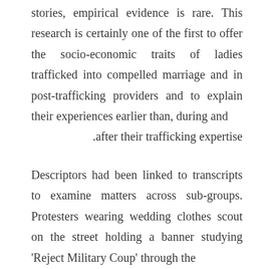stories, empirical evidence is rare. This research is certainly one of the first to offer the socio-economic traits of ladies trafficked into compelled marriage and in post-trafficking providers and to explain their experiences earlier than, during and after their trafficking expertise.
Descriptors had been linked to transcripts to examine matters across sub-groups. Protesters wearing wedding clothes scout on the street holding a banner studying 'Reject Military Coup' through the